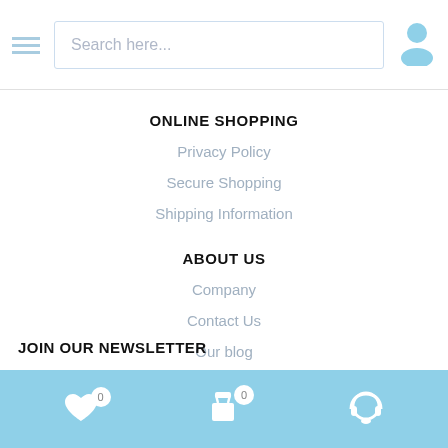Search here...
ONLINE SHOPPING
Privacy Policy
Secure Shopping
Shipping Information
ABOUT US
Company
Contact Us
Our blog
JOIN OUR NEWSLETTER
0  0